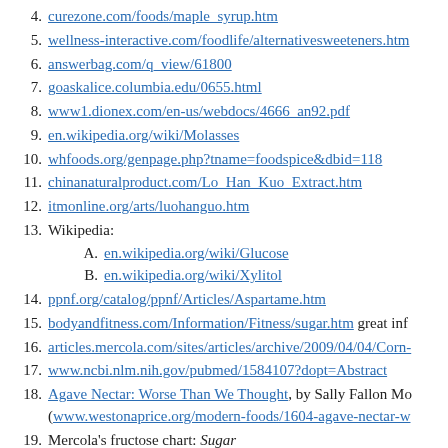4. curezone.com/foods/maple_syrup.htm
5. wellness-interactive.com/foodlife/alternativesweeteners.htm
6. answerbag.com/q_view/61800
7. goaskalice.columbia.edu/0655.html
8. www1.dionex.com/en-us/webdocs/4666_an92.pdf
9. en.wikipedia.org/wiki/Molasses
10. whfoods.org/genpage.php?tname=foodspice&dbid=118
11. chinanaturalproduct.com/Lo_Han_Kuo_Extract.htm
12. itmonline.org/arts/luohanguo.htm
13. Wikipedia:
A. en.wikipedia.org/wiki/Glucose
B. en.wikipedia.org/wiki/Xylitol
14. ppnf.org/catalog/ppnf/Articles/Aspartame.htm
15. bodyandfitness.com/Information/Fitness/sugar.htm great inf
16. articles.mercola.com/sites/articles/archive/2009/04/04/Corn-
17. www.ncbi.nlm.nih.gov/pubmed/1584107?dopt=Abstract
18. Agave Nectar: Worse Than We Thought, by Sally Fallon Mo (www.westonaprice.org/modern-foods/1604-agave-nectar-w
19. Mercola's fructose chart: Sugar